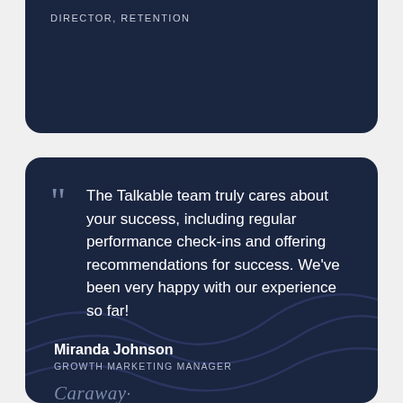DIRECTOR, RETENTION
The Talkable team truly cares about your success, including regular performance check-ins and offering recommendations for success. We've been very happy with our experience so far!
Miranda Johnson
GROWTH MARKETING MANAGER
Caraway